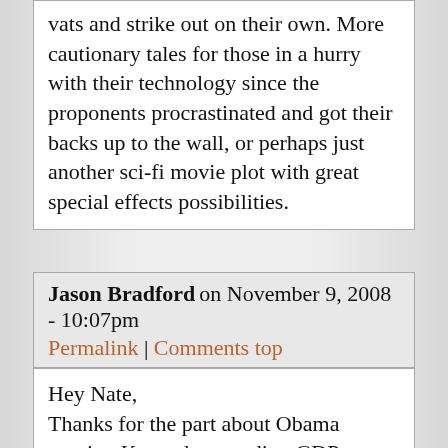vats and strike out on their own. More cautionary tales for those in a hurry with their technology since the proponents procrastinated and got their backs up to the wall, or perhaps just another sci-fi movie plot with great special effects possibilities.
Jason Bradford on November 9, 2008 - 10:07pm
Permalink | Comments top
Hey Nate, Thanks for the part about Obama quoting Kennedy regarding GDP, etc.

That's one of the most hopeful things I've heard in a while.